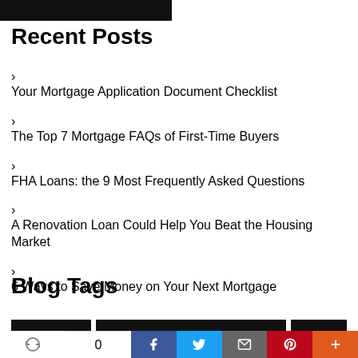[Figure (other): Black banner at top of page]
Recent Posts
Your Mortgage Application Document Checklist
The Top 7 Mortgage FAQs of First-Time Buyers
FHA Loans: the 9 Most Frequently Asked Questions
A Renovation Loan Could Help You Beat the Housing Market
6 Ways to Save Money on Your Next Mortgage
Blog Tags
[Figure (other): Social sharing bar with count 0, Facebook, Twitter, Email, Pinterest, and plus buttons]